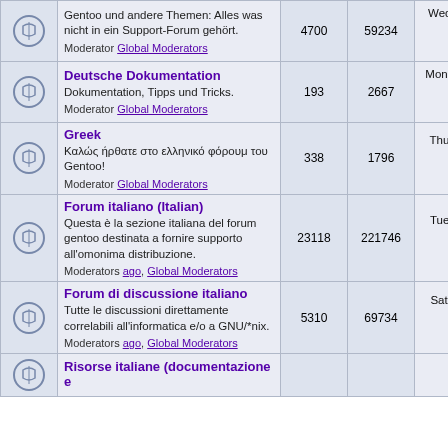|  | Forum | Topics | Posts | Last Post |
| --- | --- | --- | --- | --- |
| [icon] | Gentoo und andere Themen: Alles was nicht in ein Support-Forum gehört. Moderator Global Moderators | 4700 | 59234 | Wed Aug 24, 2022 2:21 pm ManfredB |
| [icon] | Deutsche Dokumentation - Dokumentation, Tipps und Tricks. Moderator Global Moderators | 193 | 2667 | Mon Aug 29, 2022 10:26 pm pietinger |
| [icon] | Greek - Καλώς ήρθατε στο ελληνικό φόρουμ του Gentoo! Moderator Global Moderators | 338 | 1796 | Thu Sep 09, 2021 6:33 am babagau |
| [icon] | Forum italiano (Italian) - Questa è la sezione italiana del forum gentoo destinata a fornire supporto all'omonima distribuzione. Moderators ago, Global Moderators | 23118 | 221746 | Tue Aug 23, 2022 2:27 pm bandreabis |
| [icon] | Forum di discussione italiano - Tutte le discussioni direttamente correlabili all'informatica e/o a GNU/*nix. Moderators ago, Global Moderators | 5310 | 69734 | Sat Jul 16, 2022 10:12 pm Johnnydsg |
| [icon] | Risorse italiane (documentazione e ... |  |  |  |